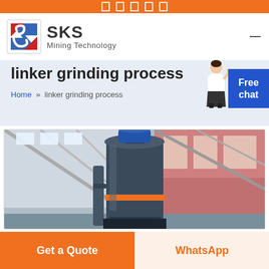SKS Mining Technology
linker grinding process
Home » linker grinding process
[Figure (photo): Industrial grinding mill equipment inside a factory/warehouse with steel roof structure, showing a large vertical mill machine]
Get a Quote
WhatsApp